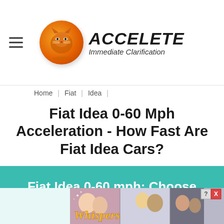[Figure (logo): Accelete logo: orange cat sphere with text 'ACCELETE Immediate Clarification']
Home | Fiat | Idea
Fiat Idea 0-60 Mph Acceleration - How Fast Are Fiat Idea Cars?
Fiat Idea 0-60 mph: Choose Generation
[Figure (photo): Advertisement banner: Whispers interactive story game ad with illustrated romantic scenes]